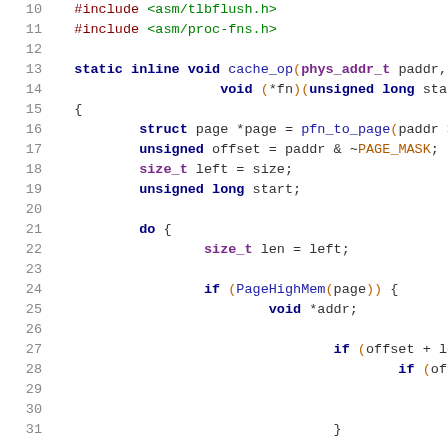[Figure (screenshot): Source code listing in C showing lines 10-31 of a kernel cache operation function with syntax highlighting. Lines show #include directives, a static inline function cache_op, local variable declarations, a do loop, and a conditional PageHighMem check.]